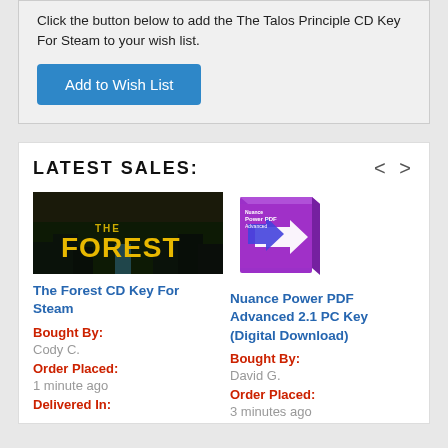Click the button below to add the The Talos Principle CD Key For Steam to your wish list.
Add to Wish List
LATEST SALES:
[Figure (photo): The Forest game cover - dark forest scene with yellow text reading THE FOREST]
The Forest CD Key For Steam
Bought By:
Cody C.
Order Placed:
1 minute ago
Delivered In:
[Figure (photo): Nuance Power PDF Advanced 2.1 product box - purple box with white and blue arrows]
Nuance Power PDF Advanced 2.1 PC Key (Digital Download)
Bought By:
David G.
Order Placed:
3 minutes ago